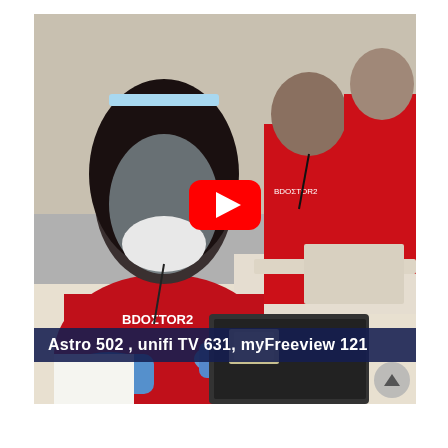[Figure (screenshot): A YouTube video thumbnail/screenshot showing medical workers in red uniforms wearing face shields and masks, working at desks with laptops and documents. A large YouTube play button is overlaid in the center. A subtitle bar at the bottom reads 'Astro 502 , unifi TV 631, myFreeview 121'. A scroll-up arrow button is visible at the bottom right corner of the video player.]